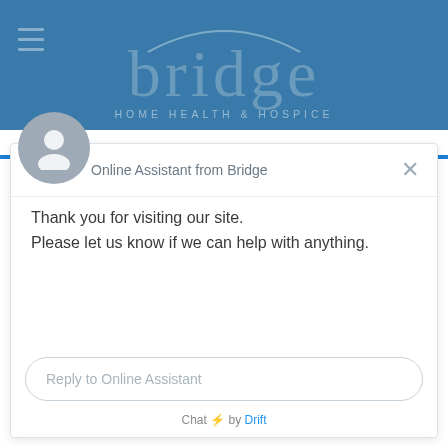[Figure (logo): Bridge Home Health & Hospice logo with arc graphic on blue background header]
Online Assistant from Bridge
Thank you for visiting our site.
Please let us know if we can help with anything.
Reply to Online Assistant
Chat ⚡ by Drift